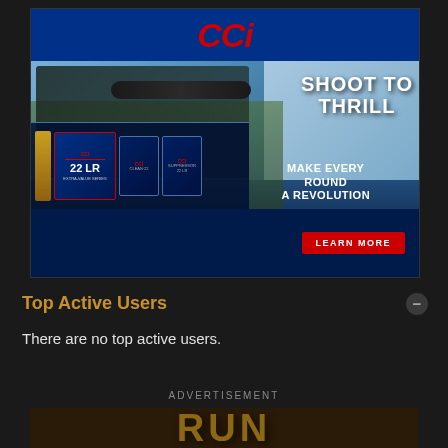[Figure (advertisement): CCI ammunition advertisement. Blue header with CCI logo in red. Main image shows a shooter aiming a rifle with scope. Text reads 'SHOOT TO THRILL' and 'MAKE EVERY ROUND A REVOLUTION'. Shows 22 LR ammo products. Red 'LEARN MORE' button at bottom.]
Top Active Users
There are no top active users.
ADVERTISEMENT
[Figure (advertisement): Partial view of another advertisement showing large golden/brown letters that appear to spell 'RUN' or similar text on a dark camouflage-style background.]